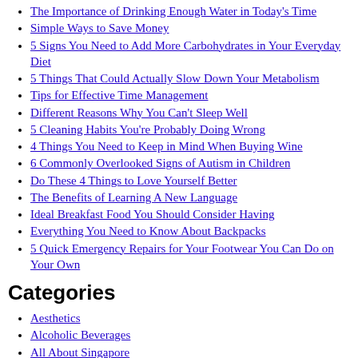The Importance of Drinking Enough Water in Today's Time
Simple Ways to Save Money
5 Signs You Need to Add More Carbohydrates in Your Everyday Diet
5 Things That Could Actually Slow Down Your Metabolism
Tips for Effective Time Management
Different Reasons Why You Can't Sleep Well
5 Cleaning Habits You're Probably Doing Wrong
4 Things You Need to Keep in Mind When Buying Wine
6 Commonly Overlooked Signs of Autism in Children
Do These 4 Things to Love Yourself Better
The Benefits of Learning A New Language
Ideal Breakfast Food You Should Consider Having
Everything You Need to Know About Backpacks
5 Quick Emergency Repairs for Your Footwear You Can Do on Your Own
Categories
Aesthetics
Alcoholic Beverages
All About Singapore
Amazing Pets
Art